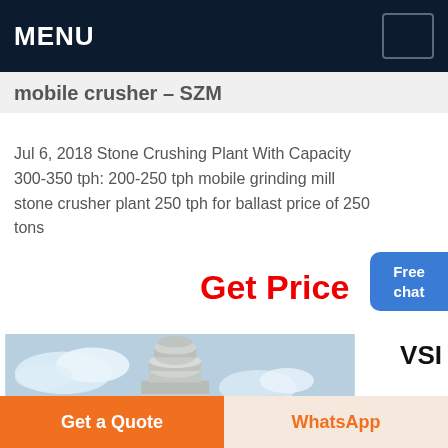MENU
mobile crusher – SZM
Jul 6, 2018 Stone Crushing Plant With Capacity 300-350 tph: 200-250 tph mobile grinding mill stone crusher plant 250 tph for ballast price of 250 tons
Get Price
[Figure (photo): Industrial stone crusher / grinding mill equipment with pipes and cylindrical tanks against a blue sky background]
VSI
Get a Quote
WhatsApp